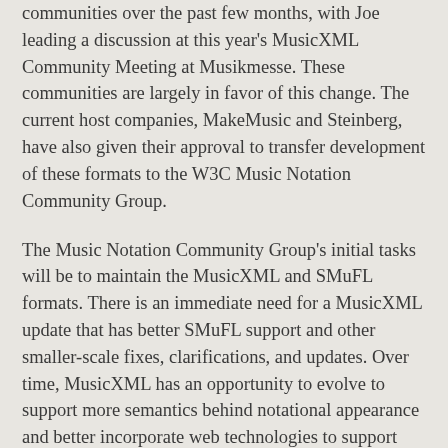communities over the past few months, with Joe leading a discussion at this year's MusicXML Community Meeting at Musikmesse. These communities are largely in favor of this change. The current host companies, MakeMusic and Steinberg, have also given their approval to transfer development of these formats to the W3C Music Notation Community Group.
The Music Notation Community Group's initial tasks will be to maintain the MusicXML and SMuFL formats. There is an immediate need for a MusicXML update that has better SMuFL support and other smaller-scale fixes, clarifications, and updates. Over time, MusicXML has an opportunity to evolve to support more semantics behind notational appearance and better incorporate web technologies to support more use cases. The Community Group will determine which of these changes will happen in the next MusicXML update and which will occur in future releases.
Michael and Daniel are delighted that their companies have agreed to transfer development of MusicXML and SMuFL to the W3C Music Notation Community Group. Michael, Daniel, and Joe look forward to the community joining us in our new